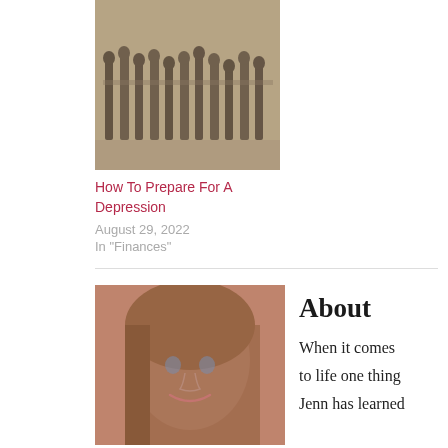[Figure (photo): Black and white historical photo showing a crowd of people standing in a line, appearing to be a depression-era bread line or queue.]
How To Prepare For A Depression
August 29, 2022
In "Finances"
[Figure (photo): Close-up photo of a woman with long hair smiling at the camera, low-light indoor setting.]
About
When it comes to life one thing Jenn has learned